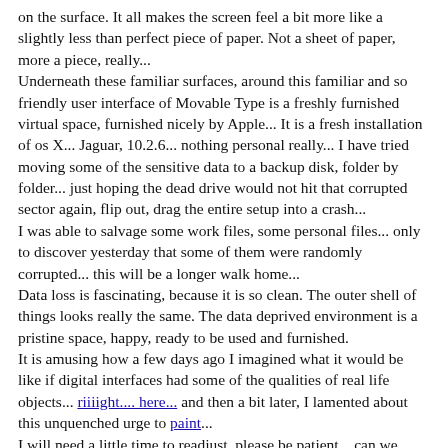on the surface. It all makes the screen feel a bit more like a slightly less than perfect piece of paper. Not a sheet of paper, more a piece, really... Underneath these familiar surfaces, around this familiar and so friendly user interface of Movable Type is a freshly furnished virtual space, furnished nicely by Apple... It is a fresh installation of os X... Jaguar, 10.2.6... nothing personal really... I have tried moving some of the sensitive data to a backup disk, folder by folder... just hoping the dead drive would not hit that corrupted sector again, flip out, drag the entire setup into a crash... I was able to salvage some work files, some personal files... only to discover yesterday that some of them were randomly corrupted... this will be a longer walk home... Data loss is fascinating, because it is so clean. The outer shell of things looks really the same. The data deprived environment is a pristine space, happy, ready to be used and furnished. It is amusing how a few days ago I imagined what it would be like if digital interfaces had some of the qualities of real life objects... riiiight.... here... and then a bit later, I lamented about this unquenched urge to paint... I will need a little time to readjust, please be patient... can we be?...